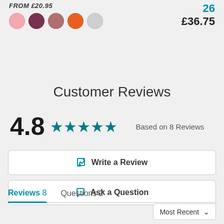FROM £20.95
[Figure (other): Five color swatches: pink, dark mauve, dusty rose, orange, light grey]
26 £36.75
Customer Reviews
4.8 ★★★★★ Based on 8 Reviews
✎ Write a Review
💬 Ask a Question
Reviews 8    Questions 2
Most Recent